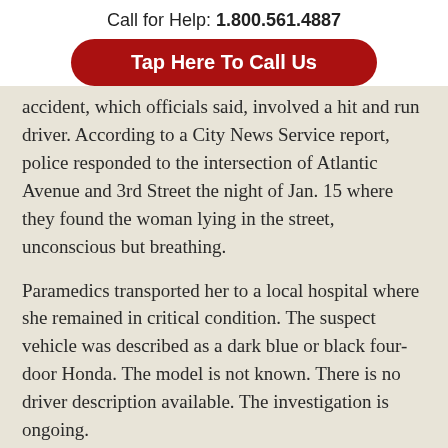Call for Help: 1.800.561.4887
Tap Here To Call Us
...accident, which officials said, involved a hit and run driver. According to a City News Service report, police responded to the intersection of Atlantic Avenue and 3rd Street the night of Jan. 15 where they found the woman lying in the street, unconscious but breathing.
Paramedics transported her to a local hospital where she remained in critical condition. The suspect vehicle was described as a dark blue or black four-door Honda. The model is not known. There is no driver description available. The investigation is ongoing.
Our thoughts and prayers go out to the injured